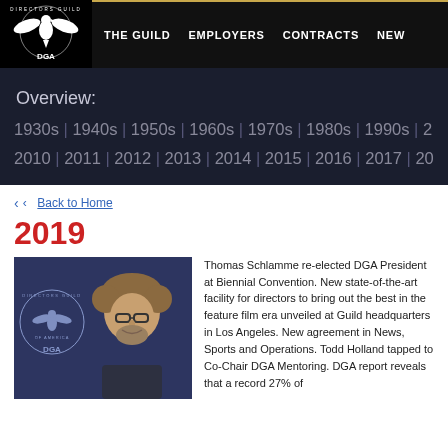DGA — THE GUILD | EMPLOYERS | CONTRACTS | NEWS
Overview:
1930s | 1940s | 1950s | 1960s | 1970s | 1980s | 1990s | 2000s | 2010 | 2011 | 2012 | 2013 | 2014 | 2015 | 2016 | 2017 | 2018 | 2019
‹ Back to Home
2019
[Figure (photo): Photo of Thomas Schlamme in front of DGA logo backdrop]
Thomas Schlamme re-elected DGA President at Biennial Convention. New state-of-the-art facility for directors to bring out the best in the feature film era unveiled at Guild headquarters in Los Angeles. New agreement in News, Sports and Operations. Todd Holland tapped to Co-Chair DGA Mentoring. DGA report reveals that a record 27% of